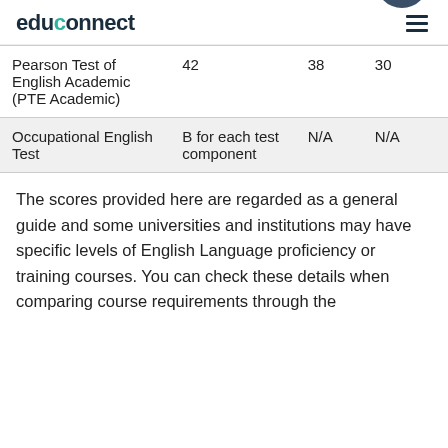educonnect
| Pearson Test of English Academic (PTE Academic) | 42 | 38 | 30 |
| Occupational English Test | B for each test component | N/A | N/A |
The scores provided here are regarded as a general guide and some universities and institutions may have specific levels of English Language proficiency or training courses. You can check these details when comparing course requirements through the